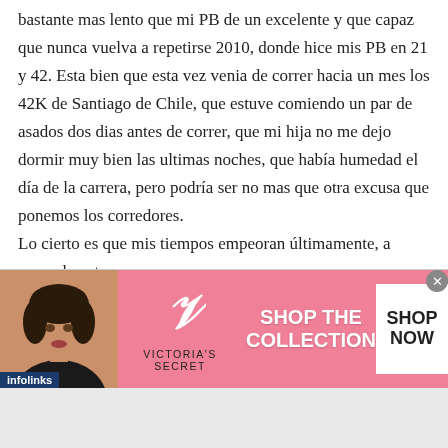bastante mas lento que mi PB de un excelente y que capaz que nunca vuelva a repetirse 2010, donde hice mis PB en 21 y 42. Esta bien que esta vez venia de correr hacia un mes los 42K de Santiago de Chile, que estuve comiendo un par de asados dos dias antes de correr, que mi hija no me dejo dormir muy bien las ultimas noches, que había humedad el día de la carrera, pero podría ser no mas que otra excusa que ponemos los corredores.
Lo cierto es que mis tiempos empeoran últimamente, a pesar de entrenar con un
[Figure (other): Victoria's Secret advertisement banner with a model on the left, VS logo and brand name in the center, 'SHOP THE COLLECTION' text, and a 'SHOP NOW' button on the right. Pink background. 'infolinks' label at bottom left. Close button (x) at top right.]